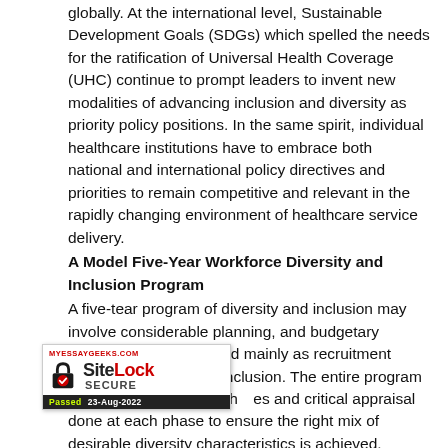globally. At the international level, Sustainable Development Goals (SDGs) which spelled the needs for the ratification of Universal Health Coverage (UHC) continue to prompt leaders to invent new modalities of advancing inclusion and diversity as priority policy positions. In the same spirit, individual healthcare institutions have to embrace both national and international policy directives and priorities to remain competitive and relevant in the rapidly changing environment of healthcare service delivery.
A Model Five-Year Workforce Diversity and Inclusion Program
A five-tear program of diversity and inclusion may involve considerable planning, and budgetary allocations to be directed mainly as recruitment drives and training for inclusion. The entire program should be broken into phases and critical appraisal done at each phase to ensure the right mix of desirable diversity characteristics is achieved. Moreover, job placement and
[Figure (other): SiteLock SECURE badge with MYESSAYGEEKS.COM text at top, padlock icon with checkmark, SiteLock branding, and Passed 23-Aug-2022 at bottom]